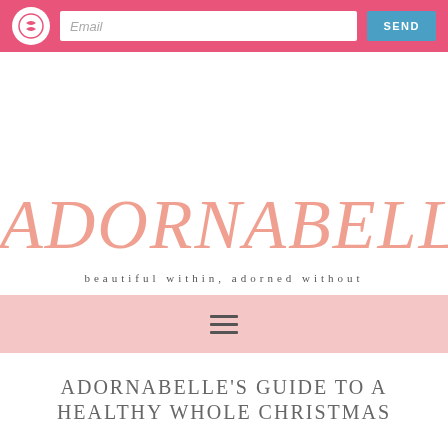Email | SEND
ADORNABELLE
beautiful within, adorned without
[Figure (other): Hamburger menu icon (three horizontal lines) on a pink background navigation bar]
ADORNABELLE'S GUIDE TO A HEALTHY WHOLE CHRISTMAS